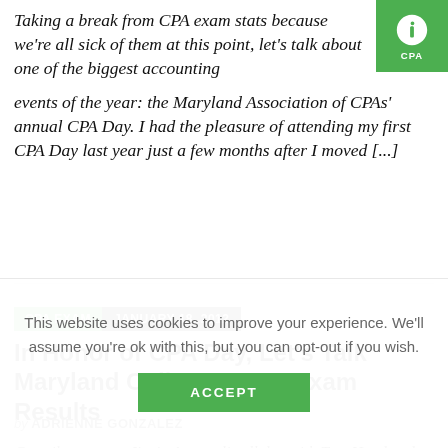Taking a break from CPA exam stats because we're all sick of them at this point, let's talk about one of the biggest accounting events of the year: the Maryland Association of CPAs' annual CPA Day. I had the pleasure of attending my first CPA Day last year just a few months after I moved [...]
CPA EXAM   JANUARY 18, 2012
In Honor of CPA Day, Let's Talk Maryland Colleges' CPA Exam Results
by ADRIENNE GONZALEZ
Contributor note: I'm in Annapolis all day with Tom Hood and the
This website uses cookies to improve your experience. We'll assume you're ok with this, but you can opt-out if you wish.